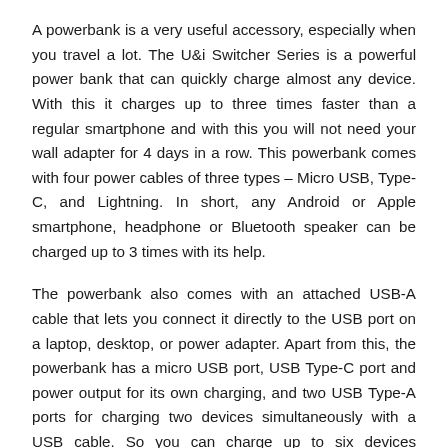A powerbank is a very useful accessory, especially when you travel a lot. The U&i Switcher Series is a powerful power bank that can quickly charge almost any device. With this it charges up to three times faster than a regular smartphone and with this you will not need your wall adapter for 4 days in a row. This powerbank comes with four power cables of three types – Micro USB, Type-C, and Lightning. In short, any Android or Apple smartphone, headphone or Bluetooth speaker can be charged up to 3 times with its help.
The powerbank also comes with an attached USB-A cable that lets you connect it directly to the USB port on a laptop, desktop, or power adapter. Apart from this, the powerbank has a micro USB port, USB Type-C port and power output for its own charging, and two USB Type-A ports for charging two devices simultaneously with a USB cable. So you can charge up to six devices simultaneously. There is also a battery